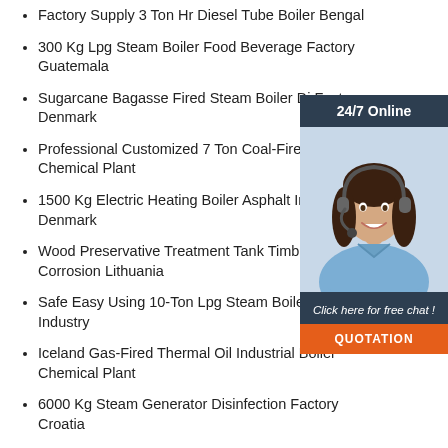Factory Supply 3 Ton Hr Diesel Tube Boiler Bengal
300 Kg Lpg Steam Boiler Food Beverage Factory Guatemala
Sugarcane Bagasse Fired Steam Boiler Di... Factory Denmark
Professional Customized 7 Ton Coal-Fired Boiler Chemical Plant
1500 Kg Electric Heating Boiler Asphalt Inc... Denmark
Wood Preservative Treatment Tank Timber... Corrosion Lithuania
Safe Easy Using 10-Ton Lpg Steam Boiler Asphalt Industry
Iceland Gas-Fired Thermal Oil Industrial Boiler Chemical Plant
6000 Kg Steam Generator Disinfection Factory Croatia
[Figure (photo): Customer service widget overlay with a woman wearing a headset, showing '24/7 Online' header, 'Click here for free chat!' text, and an orange 'QUOTATION' button]